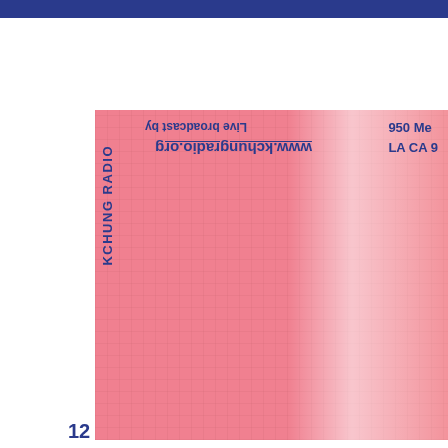[Figure (other): Blue horizontal bar at top of page]
[Figure (other): Red/pink grid-textured block with faded photo area on right side, taking up most of page. Contains KCHUNG RADIO vertical text, mirrored/upside-down text reading 'Live broadcast by' and 'www.kchungradio.org', and address text '950 Me... / LA CA 9...' on the right side.]
KCHUNG RADIO
Live broadcast by
www.kchungradio.org
950 Me
LA CA 9
12